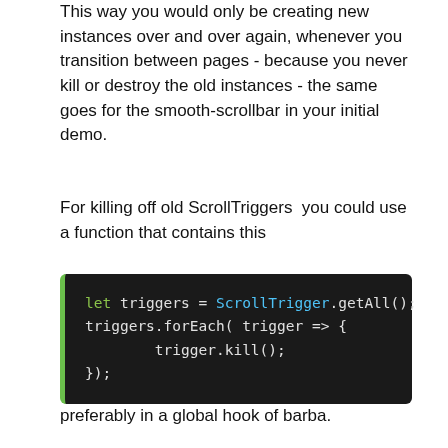This way you would only be creating new instances over and over again, whenever you transition between pages - because you never kill or destroy the old instances - the same goes for the smooth-scrollbar in your initial demo.
For killing off old ScrollTriggers  you could use a function that contains this
[Figure (screenshot): Code block with dark background showing: let triggers = ScrollTrigger.getAll(); triggers.forEach( trigger => {     trigger.kill(); });]
preferably in a global hook of barba.